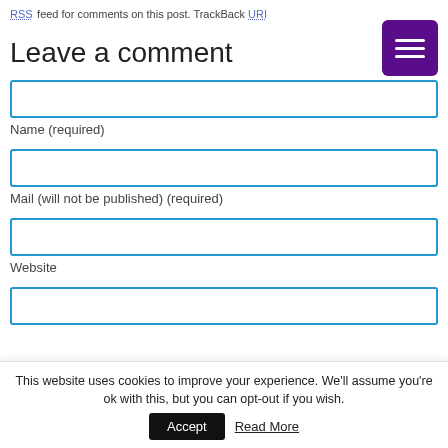RSS feed for comments on this post. TrackBack URI
Leave a comment
[Figure (other): Purple hamburger menu button with three white horizontal lines]
Name (required)
Mail (will not be published) (required)
Website
This website uses cookies to improve your experience. We'll assume you're ok with this, but you can opt-out if you wish.
Accept
Read More